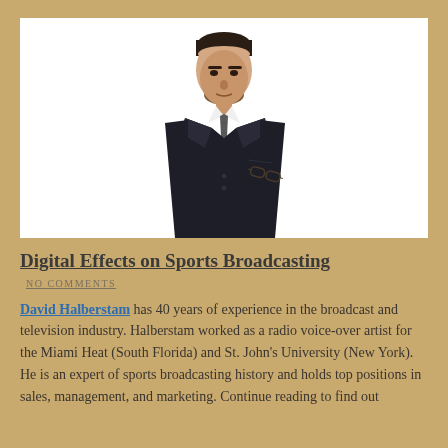[Figure (photo): Professional man in dark suit with tie, dark hair, beard, holding glasses tucked in breast pocket, white background photo]
Digital Effects on Sports Broadcasting
NO COMMENTS
David Halberstam has 40 years of experience in the broadcast and television industry. Halberstam worked as a radio voice-over artist for the Miami Heat (South Florida) and St. John's University (New York). He is an expert of sports broadcasting history and holds top positions in sales, management, and marketing. Continue reading to find out